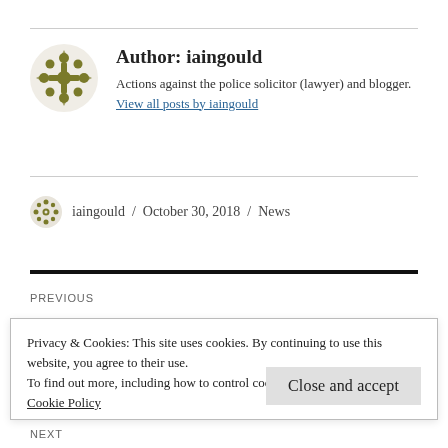Author: iaingould
Actions against the police solicitor (lawyer) and blogger. View all posts by iaingould
iaingould / October 30, 2018 / News
PREVIOUS
Privacy & Cookies: This site uses cookies. By continuing to use this website, you agree to their use.
To find out more, including how to control cookies, see here:
Cookie Policy
Close and accept
NEXT